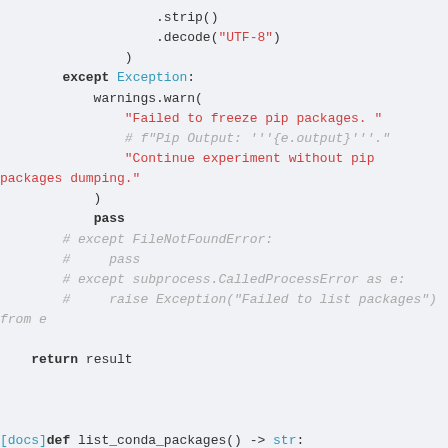Code block showing Python source code with exception handling and function definition for list_conda_packages